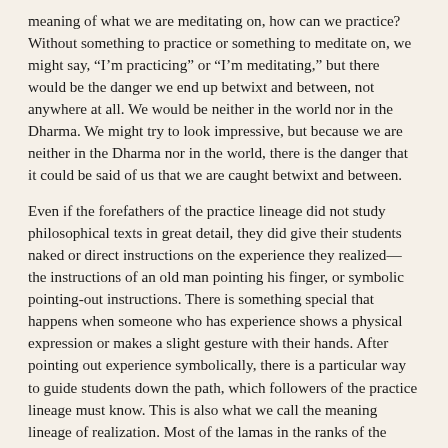meaning of what we are meditating on, how can we practice? Without something to practice or something to meditate on, we might say, “I’m practicing” or “I’m meditating,” but there would be the danger we end up betwixt and between, not anywhere at all. We would be neither in the world nor in the Dharma. We might try to look impressive, but because we are neither in the Dharma nor in the world, there is the danger that it could be said of us that we are caught betwixt and between.
Even if the forefathers of the practice lineage did not study philosophical texts in great detail, they did give their students naked or direct instructions on the experience they realized—the instructions of an old man pointing his finger, or symbolic pointing-out instructions. There is something special that happens when someone who has experience shows a physical expression or makes a slight gesture with their hands. After pointing out experience symbolically, there is a particular way to guide students down the path, which followers of the practice lineage must know. This is also what we call the meaning lineage of realization. Most of the lamas in the ranks of the Kagyu root and lineage lamas first attained a high level of scholarship before doing meditation practice,